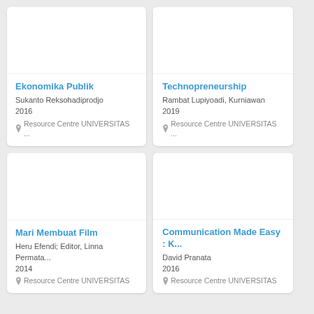[Figure (other): Book cover placeholder – top left card (Ekonomika Publik)]
Ekonomika Publik
Sukanto Reksohadiprodjo
2016
Resource Centre UNIVERSITAS ...
[Figure (other): Book cover placeholder – top right card (Technopreneurship)]
Technopreneurship
Rambat Lupiyoadi, Kurniawan
2019
Resource Centre UNIVERSITAS ...
[Figure (other): Book cover placeholder – bottom left card (Mari Membuat Film)]
Mari Membuat Film
Heru Efendi; Editor, Linna Permata...
2014
Resource Centre UNIVERSITAS
[Figure (other): Book cover placeholder – bottom right card (Communication Made Easy : K...)]
Communication Made Easy : K...
David Pranata
2016
Resource Centre UNIVERSITAS